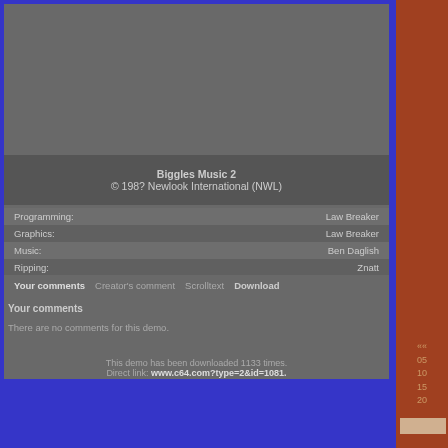Biggles Music 2
© 198? Newlook International (NWL)
| Role | Name |
| --- | --- |
| Programming: | Law Breaker |
| Graphics: | Law Breaker |
| Music: | Ben Daglish |
| Ripping: | Znatt |
Your comments   Creator's comment   Scrolltext   Download
Your comments
There are no comments for this demo.
This demo has been downloaded 1133 times.
Direct link: www.c64.com?type=2&id=1081.